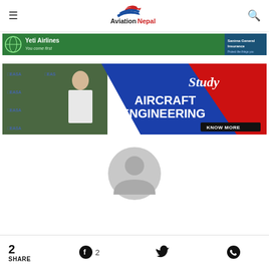AviationNepal
[Figure (illustration): Yeti Airlines banner advertisement - green and teal bar with Yeti Airlines logo and 'You come first' tagline on left, Sanima General Insurance logo on right]
[Figure (illustration): Study Aircraft Engineering advertisement banner - pilot in uniform on left with EASA logos, blue and red diagonal design, 'Study AIRCRAFT ENGINEERING' text, 'KNOW MORE' button]
[Figure (illustration): Generic user avatar - gray circular person silhouette placeholder]
2 SHARE